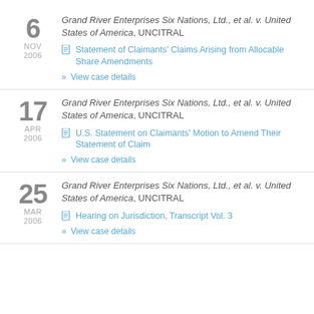6 NOV 2006 — Grand River Enterprises Six Nations, Ltd., et al. v. United States of America, UNCITRAL — Statement of Claimants' Claims Arising from Allocable Share Amendments — View case details
17 APR 2006 — Grand River Enterprises Six Nations, Ltd., et al. v. United States of America, UNCITRAL — U.S. Statement on Claimants' Motion to Amend Their Statement of Claim — View case details
25 MAR 2006 — Grand River Enterprises Six Nations, Ltd., et al. v. United States of America, UNCITRAL — Hearing on Jurisdiction, Transcript Vol. 3 — View case details